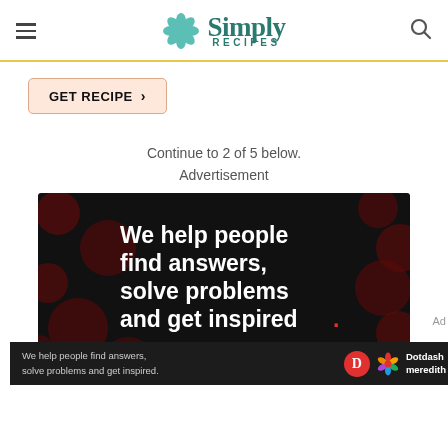Simply Recipes
GET RECIPE >
Continue to 2 of 5 below.
Advertisement
[Figure (photo): Dotdash Meredith advertisement: dark background with red polka dot pattern, large white bold text reading 'We help people find answers, solve problems and get inspired.' with a red period, 'LEARN MORE' link, Dotdash 'D' logo in red circle, and colorful Meredith flower logo]
[Figure (photo): Bottom sticky ad bar with Dotdash Meredith branding showing 'We help people find answers, solve problems and get inspired.' text with logos]